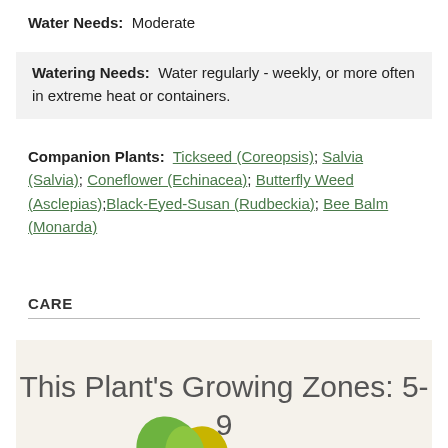Water Needs: Moderate
Watering Needs: Water regularly - weekly, or more often in extreme heat or containers.
Companion Plants: Tickseed (Coreopsis); Salvia (Salvia); Coneflower (Echinacea); Butterfly Weed (Asclepias);Black-Eyed-Susan (Rudbeckia); Bee Balm (Monarda)
CARE
This Plant's Growing Zones: 5-9
[Figure (illustration): Partial view of a plant illustration with green and yellow leaves at the bottom of the page]